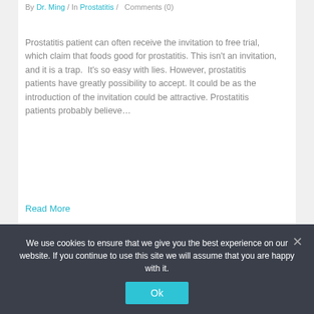By Dr. Ming / In Prostatitis / Comments (0)
Prostatitis patient can often receive the invitation to free trial, which claim that foods good for prostatitis. This isn't an invitation, and it is a trap.  It's so easy with lies. However, prostatitis patients have greatly possibility to accept. It could be as the introduction of the invitation could be attractive. Prostatitis patients probably believe…
Read More
[Figure (infographic): Two teal-colored icon tabs side by side: a document/page icon on the left (slightly raised) and a heart/like icon on the right]
We use cookies to ensure that we give you the best experience on our website. If you continue to use this site we will assume that you are happy with it. Ok